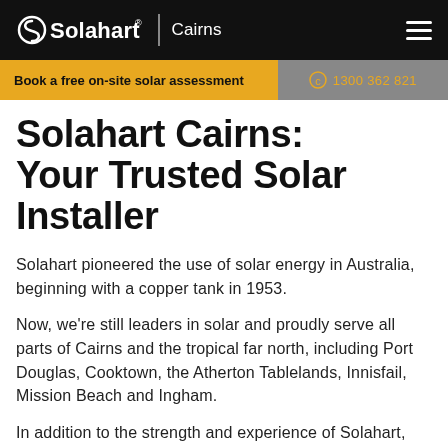Solahart | Cairns
Book a free on-site solar assessment
1300 362 821
Solahart Cairns: Your Trusted Solar Installer
Solahart pioneered the use of solar energy in Australia, beginning with a copper tank in 1953.
Now, we're still leaders in solar and proudly serve all parts of Cairns and the tropical far north, including Port Douglas, Cooktown, the Atherton Tablelands, Innisfail, Mission Beach and Ingham.
In addition to the strength and experience of Solahart, we're a Clean Energy Council Approved Solar Retailer.